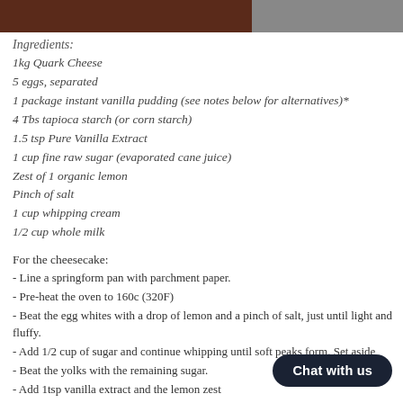[Figure (photo): Two food photos at the top of the page, side by side — left photo dark brownish, right photo lighter grey tones]
Ingredients:
1kg Quark Cheese
5 eggs, separated
1 package instant vanilla pudding (see notes below for alternatives)*
4 Tbs tapioca starch (or corn starch)
1.5 tsp Pure Vanilla Extract
1 cup fine raw sugar (evaporated cane juice)
Zest of 1 organic lemon
Pinch of salt
1 cup whipping cream
1/2 cup whole milk
For the cheesecake:
- Line a springform pan with parchment paper.
- Pre-heat the oven to 160c (320F)
- Beat the egg whites with a drop of lemon and a pinch of salt, just until light and fluffy.
- Add 1/2 cup of sugar and continue whipping until soft peaks form. Set aside
- Beat the yolks with the remaining sugar.
- Add 1tsp vanilla extract and the lemon zest
- Add the quark cheese and beat until smooth